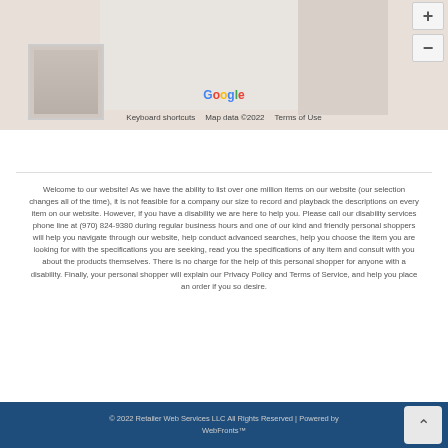[Figure (map): Google Maps snippet showing a location with a street view thumbnail in the lower left, map controls (+ and - zoom buttons) in the upper right, Google logo, and footer bar with Keyboard shortcuts, Map data ©2022, and Terms of Use.]
Welcome to our website! As we have the ability to list over one million items on our website (our selection changes all of the time), it is not feasible for a company our size to record and playback the descriptions on every item on our website. However, if you have a disability we are here to help you. Please call our disability services phone line at (970) 824-9380 during regular business hours and one of our kind and friendly personal shoppers will help you navigate through our website, help conduct advanced searches, help you choose the item you are looking for with the specifications you are seeking, read you the specifications of any item and consult with you about the products themselves. There is no charge for the help of this personal shopper for anyone with a disability. Finally, your personal shopper will explain our Privacy Policy and Terms of Service, and help you place an order if you so desire.
© 2022 Retailer Web Services LLC All Rights Reserved | Powered by WebFronts™